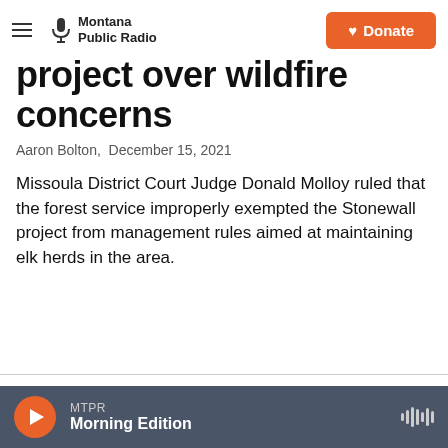Montana Public Radio | Donate
project over wildfire concerns
Aaron Bolton,  December 15, 2021
Missoula District Court Judge Donald Molloy ruled that the forest service improperly exempted the Stonewall project from management rules aimed at maintaining elk herds in the area.
[Figure (other): Listen audio button: LISTEN • 1:13]
[Figure (photo): Landscape photo showing mountains with clouds and blue sky]
MTPR Morning Edition — audio player bar